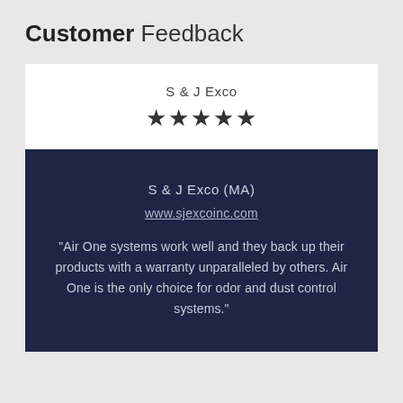Customer Feedback
S&J Exco
[Figure (other): Five filled star rating icons]
S&J Exco (MA)
www.sjexcoinc.com
"Air One systems work well and they back up their products with a warranty unparalleled by others. Air One is the only choice for odor and dust control systems."